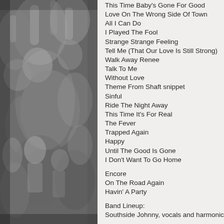[Figure (photo): Black and white photograph of a crowd, people with arms raised, concert or event scene]
This Time Baby's Gone For Good
Love On The Wrong Side Of Town
All I Can Do
I Played The Fool
Strange Strange Feeling
Tell Me (That Our Love Is Still Strong)
Walk Away Renee
Talk To Me
Without Love
Theme From Shaft snippet
Sinful
Ride The Night Away
This Time It's For Real
The Fever
Trapped Again
Happy
Until The Good Is Gone
I Don't Want To Go Home
Encore
On The Road Again
Havin' A Party
Band Lineup:
Southside Johnny, vocals and harmonica